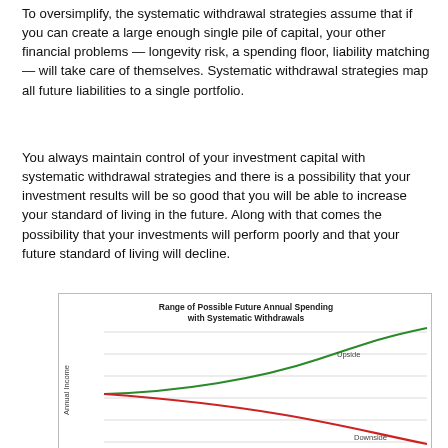To oversimplify, the systematic withdrawal strategies assume that if you can create a large enough single pile of capital, your other financial problems — longevity risk, a spending floor, liability matching — will take care of themselves. Systematic withdrawal strategies map all future liabilities to a single portfolio.
You always maintain control of your investment capital with systematic withdrawal strategies and there is a possibility that your investment results will be so good that you will be able to increase your standard of living in the future. Along with that comes the possibility that your investments will perform poorly and that your future standard of living will decline.
[Figure (continuous-plot): Line chart showing two diverging trajectories from a common starting point over time. A green line curves upward labeled 'Upside' and a red line curves downward labeled 'Downside', illustrating the range of possible future annual spending with systematic withdrawals.]